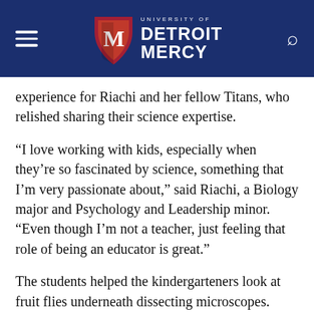University of Detroit Mercy
experience for Riachi and her fellow Titans, who relished sharing their science expertise.
“I love working with kids, especially when they’re so fascinated by science, something that I’m very passionate about,” said Riachi, a Biology major and Psychology and Leadership minor. “Even though I’m not a teacher, just feeling that role of being an educator is great.”
The students helped the kindergarteners look at fruit flies underneath dissecting microscopes. They examined the differences in eye color and wing structure and attempted to count the number of living flies in a vial. A lab packet designed by Kagey allowed the kindergarteners to record their observations by